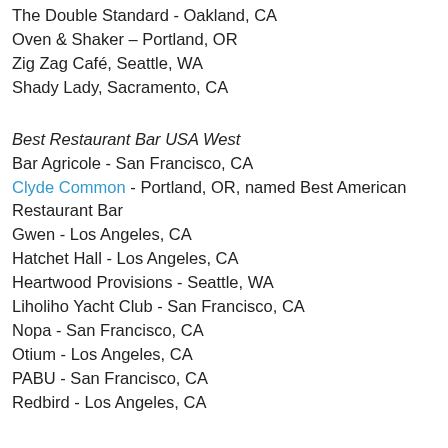The Double Standard - Oakland, CA
Oven & Shaker – Portland, OR
Zig Zag Café, Seattle, WA
Shady Lady, Sacramento, CA
Best Restaurant Bar USA West
Bar Agricole - San Francisco, CA
Clyde Common - Portland, OR, named Best American Restaurant Bar
Gwen - Los Angeles, CA
Hatchet Hall - Los Angeles, CA
Heartwood Provisions - Seattle, WA
Liholiho Yacht Club - San Francisco, CA
Nopa - San Francisco, CA
Otium - Los Angeles, CA
PABU - San Francisco, CA
Redbird - Los Angeles, CA
Best Hotel Bar - USA - West
Blue Hound Kitchen and Cocktails - Phoenix, AZ
Carbon Beach Club / Malibu Beach Inn - Malibu, CA
Charmaine's at The Proper Hotel - San Francisco, CA